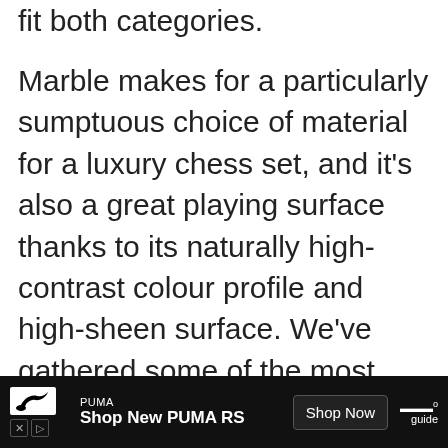fit both categories.
Marble makes for a particularly sumptuous choice of material for a luxury chess set, and it's also a great playing surface thanks to its naturally high-contrast colour profile and high-sheen surface. We've gathered some of the most elegant marble chess sets available for your perusal, so whether you're a serious strategist or a casual conqueror, you're sure to find something that suits your playstyle and tastes. And for those who like the look of these marble chess sets but require something a little
[Figure (other): Advertisement banner at bottom of page. PUMA logo and text 'Shop New PUMA RS' with a 'Shop Now' button.]